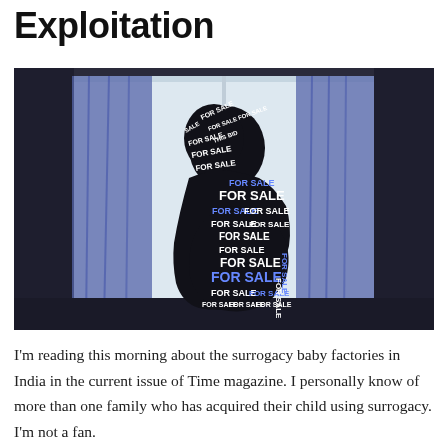Exploitation
[Figure (photo): A silhouette of a pregnant woman hunched over against a bright window with blue curtains on either side. The silhouette is filled with repeated text 'FOR SALE' in various sizes and colors (white and blue), creating a commentary on surrogacy exploitation.]
I'm reading this morning about the surrogacy baby factories in India in the current issue of Time magazine. I personally know of more than one family who has acquired their child using surrogacy. I'm not a fan.